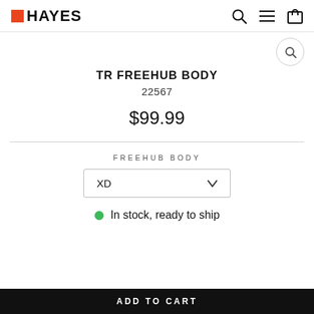HAYES
TR FREEHUB BODY
22567
$99.99
FREEHUB BODY
XD
In stock, ready to ship